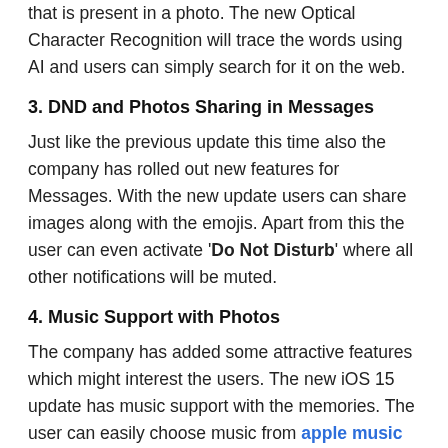that is present in a photo. The new Optical Character Recognition will trace the words using AI and users can simply search for it on the web.
3. DND and Photos Sharing in Messages
Just like the previous update this time also the company has rolled out new features for Messages. With the new update users can share images along with the emojis. Apart from this the user can even activate 'Do Not Disturb' where all other notifications will be muted.
4. Music Support with Photos
The company has added some attractive features which might interest the users. The new iOS 15 update has music support with the memories. The user can easily choose music from apple music and add them.
5. Mi...